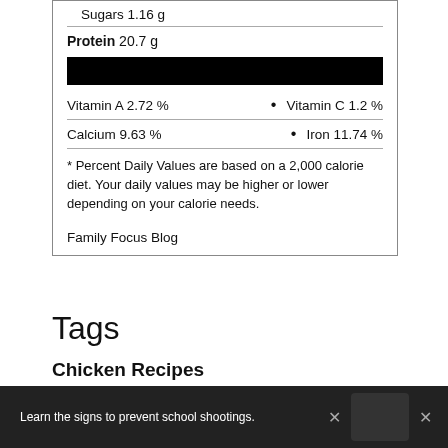Sugars 1.16 g
Protein 20.7 g
Vitamin A 2.72 %    •   Vitamin C 1.2 %
Calcium 9.63 %    •   Iron 11.74 %
* Percent Daily Values are based on a 2,000 calorie diet. Your daily values may be higher or lower depending on your calorie needs.
Family Focus Blog
Tags
Chicken Recipes
© 2022 Copyright Family Focus Blog
Learn the signs to prevent school shootings.